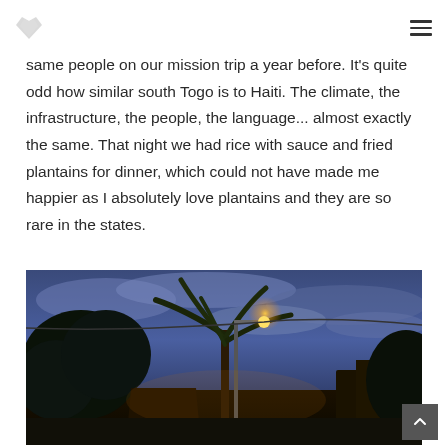same people on our mission trip a year before. It's quite odd how similar south Togo is to Haiti. The climate, the infrastructure, the people, the language... almost exactly the same. That night we had rice with sauce and fried plantains for dinner, which could not have made me happier as I absolutely love plantains and they are so rare in the states.
[Figure (photo): Night scene with palm trees lit by a street lamp under a blue-purple cloudy sky, with tropical foliage and structures visible in warm yellow light.]